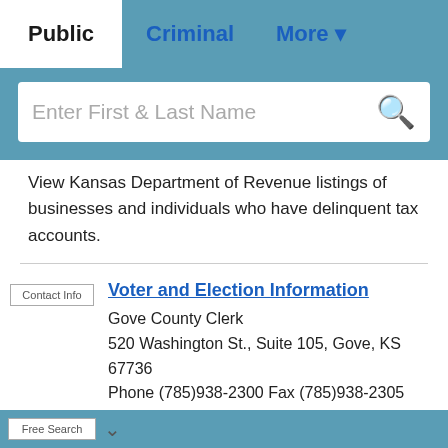Public | Criminal | More
[Figure (screenshot): Search bar with placeholder text 'Enter First & Last Name' and a search icon]
View Kansas Department of Revenue listings of businesses and individuals who have delinquent tax accounts.
Contact Info
Voter and Election Information
Gove County Clerk
520 Washington St., Suite 105, Gove, KS 67736
Phone (785)938-2300 Fax (785)938-2305
Free Search
Government Jobs
Search Kansas civil service jobs by agency,